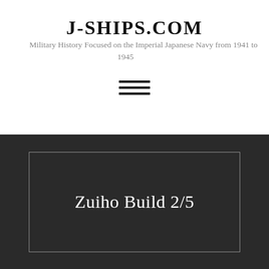J-SHIPS.COM
Military History Focused on the Imperial Japanese Navy from 1941 to 1945
[Figure (other): Hamburger menu icon with three horizontal lines]
Zuiho Build 2/5